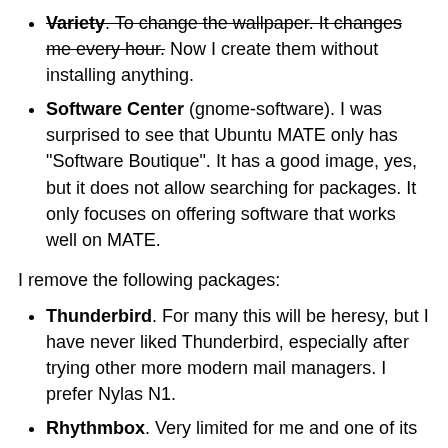Variety. To change the wallpaper. It changes me every hour. Now I create them without installing anything.
Software Center (gnome-software). I was surprised to see that Ubuntu MATE only has "Software Boutique". It has a good image, yes, but it does not allow searching for packages. It only focuses on offering software that works well on MATE.
I remove the following packages:
Thunderbird. For many this will be heresy, but I have never liked Thunderbird, especially after trying other more modern mail managers. I prefer Nylas N1.
Rhythmbox. Very limited for me and one of its